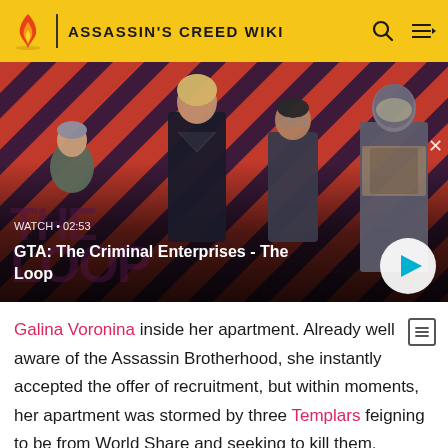ASSASSIN'S CREED WIKI
[Figure (screenshot): GTA: The Criminal Enterprises video thumbnail showing four characters on a diagonal red and dark striped background. Text overlay reads WATCH • 02:53 and title GTA: The Criminal Enterprises - The Loop with a play button.]
Galina Voronina inside her apartment. Already well aware of the Assassin Brotherhood, she instantly accepted the offer of recruitment, but within moments, her apartment was stormed by three Templars feigning to be from World Share and seeking to kill them. Though Xavier and Galina